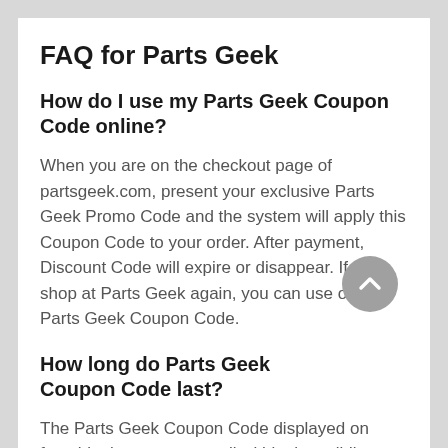FAQ for Parts Geek
How do I use my Parts Geek Coupon Code online?
When you are on the checkout page of partsgeek.com, present your exclusive Parts Geek Promo Code and the system will apply this Coupon Code to your order. After payment, Discount Code will expire or disappear. If you shop at Parts Geek again, you can use other Parts Geek Coupon Code.
How long do Parts Geek Coupon Code last?
The Parts Geek Coupon Code displayed on freeshipping-us.org are all within the validity